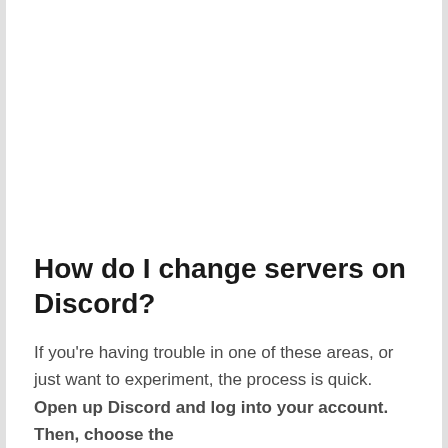How do I change servers on Discord?
If you're having trouble in one of these areas, or just want to experiment, the process is quick. Open up Discord and log into your account. Then, choose the server on the left side bar, so that...